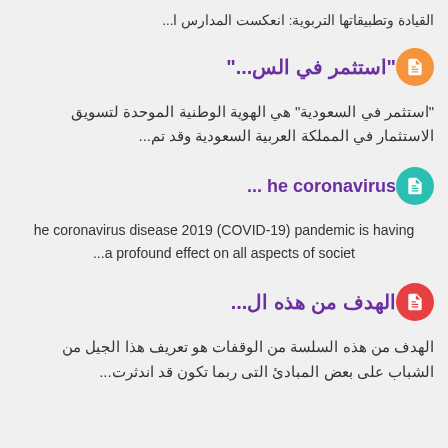القيادة وتطبيقاتها التربوية: انعكست المدارس ا...
"استثمر في الس..."
"استثمر في السعودية" هي الهوية الوطنية الموحدة لتسويق الاستثمار في المملكة العربية السعودية وقد تم...
... he coronavirus
he coronavirus disease 2019 (COVID-19) pandemic is having a profound effect on all aspects of societ...
الهدف من هذه ال...
الهدف من هذه السلسة من الوقفات هو تعريف هذا الجيل من الشباب على بعض المبادئ التى ربما تكون قد اندثرت...